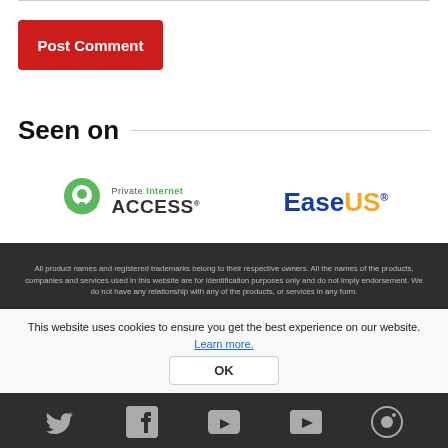Post Comment
Seen on
[Figure (logo): Private Internet ACCESS logo with green lock icon]
[Figure (logo): EaseUS logo in blue and orange with registered trademark]
All product names and registered trademarks belong to their respective owners. All the names of the products, companies and services used in this website are for identification purposes only and do not imply endorsement. We do not have any relationship with any of the products, or services in any form.
This website uses cookies to ensure you get the best experience on our website. Learn more.